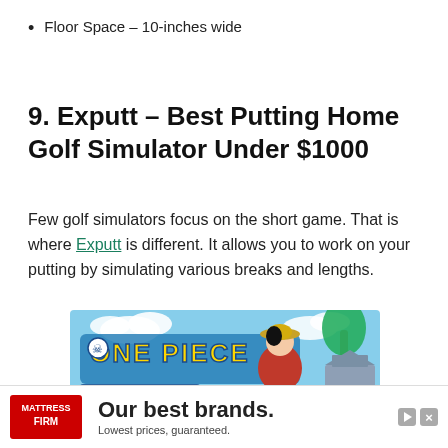Floor Space – 10-inches wide
9. Exputt – Best Putting Home Golf Simulator Under $1000
Few golf simulators focus on the short game. That is where Exputt is different. It allows you to work on your putting by simulating various breaks and lengths.
[Figure (photo): One Piece anime advertisement banner showing Monkey D. Luffy holding his straw hat with One Piece logo and Japanese pagoda in background]
[Figure (photo): Mattress Firm advertisement banner with text 'Our best brands. Lowest prices, guaranteed.']